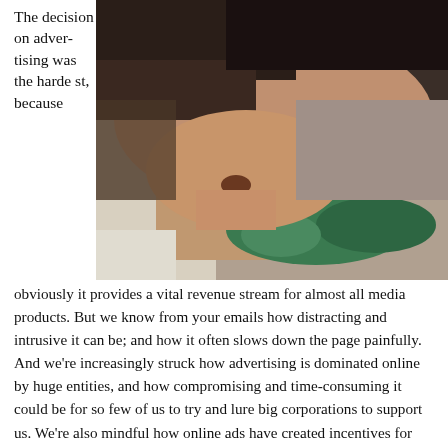The decision on advertising was the hardest, because
[Figure (photo): Close-up photo of a bearded man biting or pulling at a green cloth or bandage wrapped around a wrist/hand, shot in black and white tones with a green accent on the cloth.]
obviously it provides a vital revenue stream for almost all media products. But we know from your emails how distracting and intrusive it can be; and how it often slows down the page painfully. And we're increasingly struck how advertising is dominated online by huge entities, and how compromising and time-consuming it could be for so few of us to try and lure big corporations to support us. We're also mindful how online ads have created incentives for pageviews